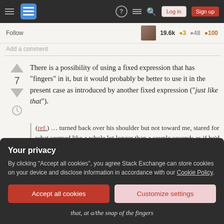[Figure (screenshot): Stack Exchange navigation bar with hamburger menu, logo, help icon, chat icon, search icon, Log in button, and Sign up button]
Follow    19.6k  ●3  ●48  ●100
Add a comment
There is a possibility of using a fixed expression that has "fingers" in it, but it would probably be better to use it in the present case as introduced by another fixed expression ("just like that").
(ref.) … turned back over his shoulder but not toward me, stared for what seemed like a whole lot longer than a couple seconds as if he'd
Your privacy
By clicking "Accept all cookies", you agree Stack Exchange can store cookies on your device and disclose information in accordance with our Cookie Policy.
Accept all cookies
Customize settings
that, at a/the snap of the fingers